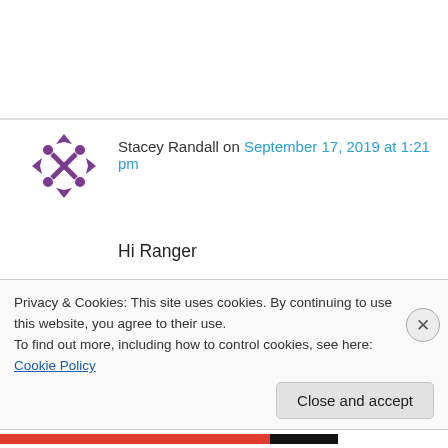[Figure (logo): Purple pixel/diamond cross avatar icon for user Stacey Randall]
Stacey Randall on September 17, 2019 at 1:21 pm
Hi Ranger

We are renovating a house that was built in the late 1930's. Happened to find the old sink out in the tree line. It is in very good shape – no chips or cracks – just needing the drain plug piece. And have to figure out how to refinish it toy bring it back to its usable glory. It is a
Privacy & Cookies: This site uses cookies. By continuing to use this website, you agree to their use.
To find out more, including how to control cookies, see here: Cookie Policy
Close and accept